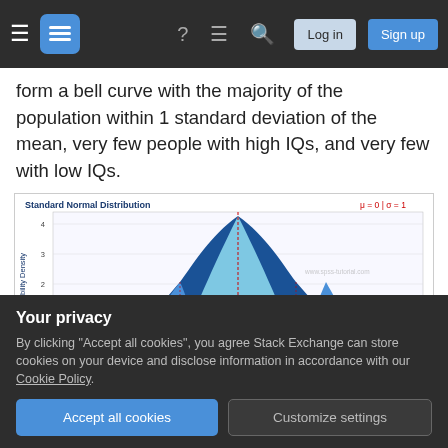Stack Exchange navigation bar with Log in and Sign up buttons
form a bell curve with the majority of the population within 1 standard deviation of the mean, very few people with high IQs, and very few with low IQs.
[Figure (continuous-plot): Standard Normal Distribution bell curve chart. Blue shaded area under curve. Y-axis: Probability Density (0-4). Percentages labeled along bottom: ±0.1%, ±2.1%, ±13.6%, ±34.1%, ±34.1%, ±13.6%, ±2.1%, ±0.1%. Top right annotation: μ=0|σ=1. Vertical dashed red line at center (mean). Watermark: www.spss-tutorial.com]
Your privacy
By clicking "Accept all cookies", you agree Stack Exchange can store cookies on your device and disclose information in accordance with our Cookie Policy.
evidence), and that wealth is based on having